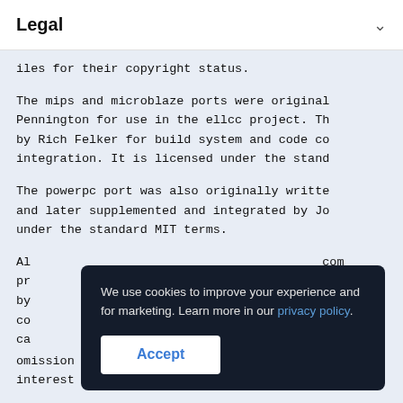Legal
iles for their copyright status.
The mips and microblaze ports were originally written by Nathanael Pennington for use in the ellcc project. They were later integrated by Rich Felker for build system and code compatibility and for musl integration. It is licensed under the standard MIT terms.
The powerpc port was also originally written and later supplemented and integrated by Jo under the standard MIT terms.
All omission of copyright and license comments interest of source tree size.
[Figure (screenshot): Cookie consent banner with dark background reading 'We use cookies to improve your experience and for marketing. Learn more in our privacy policy.' with an Accept button.]